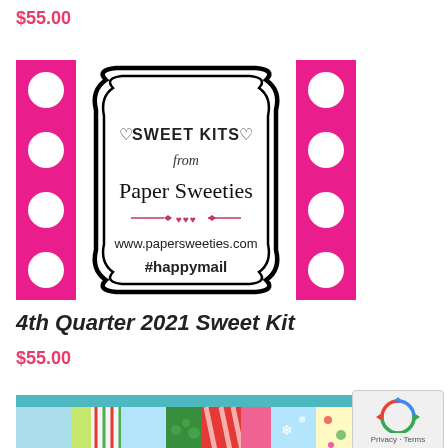$55.00
[Figure (illustration): Sweet Kits from Paper Sweeties product image with pink polka dot borders and black decorative frame containing text: heart SWEET KITS heart, from, Paper Sweeties, decorative divider with hearts, www.papersweeties.com, #happymail]
4th Quarter 2021 Sweet Kit
$55.00
[Figure (photo): Colorful Christmas/holiday patterned paper sheets arranged in a row, with teal header bar, showing festive patterns including stripes, Christmas sweaters, trees, candy canes, and holiday motifs]
[Figure (other): reCAPTCHA widget showing circular arrows icon with Privacy and Terms links]